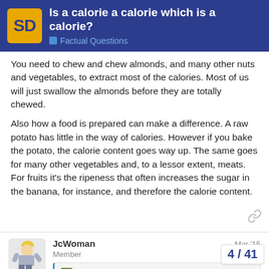Is a calorie a calorie which is a calorie? — Factual Questions
You need to chew and chew almonds, and many other nuts and vegetables, to extract most of the calories. Most of us will just swallow the almonds before they are totally chewed.
Also how a food is prepared can make a difference. A raw potato has little in the way of calories. However if you bake the potato, the calorie content goes way up. The same goes for many other vegetables and, to a lessor extent, meats. For fruits it's the ripeness that often increases the sugar in the banana, for instance, and therefore the calorie content.
JcWoman — Member — Mar '15
sweeteviljesus:
In what way and what difference does it